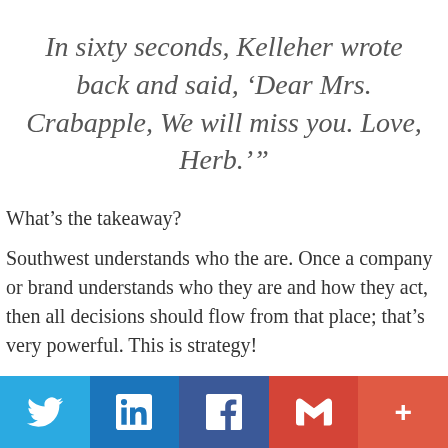In sixty seconds, Kelleher wrote back and said, ‘Dear Mrs. Crabapple, We will miss you. Love, Herb.’”
What’s the takeaway?
Southwest understands who the are. Once a company or brand understands who they are and how they act, then all decisions should flow from that place; that’s very powerful. This is strategy!
[Figure (infographic): Social sharing bar with Twitter, LinkedIn, Facebook, Gmail, and More (+) buttons]